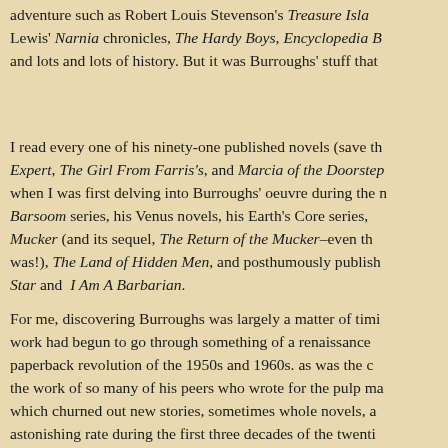adventure such as Robert Louis Stevenson's Treasure Isla... Lewis' Narnia chronicles, The Hardy Boys, Encyclopedia B... and lots and lots of history. But it was Burroughs' stuff that ...
I read every one of his ninety-one published novels (save th... Expert, The Girl From Farris's, and Marcia of the Doorstep ... when I was first delving into Burroughs' oeuvre during the n... Barsoom series, his Venus novels, his Earth's Core series, ... Mucker (and its sequel, The Return of the Mucker–even tho... was!), The Land of Hidden Men, and posthumously publish... Star and I Am A Barbarian.
For me, discovering Burroughs was largely a matter of timi... work had begun to go through something of a renaissance ... paperback revolution of the 1950s and 1960s. as was the c... the work of so many of his peers who wrote for the pulp ma... which churned out new stories, sometimes whole novels, a... astonishing rate during the first three decades of the twenti... And publishers such as Ace and Ballantine were eager to c... commissioning vivd, exciting cover art from such top notch ...